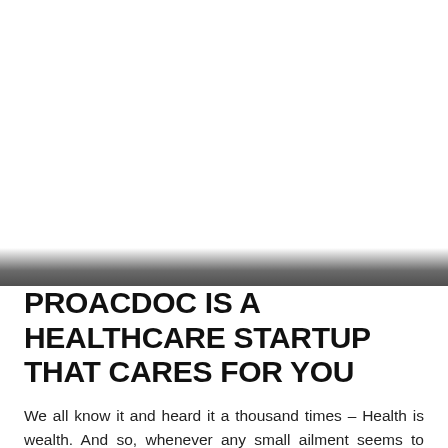[Figure (photo): Large image area occupying the upper portion of the page, appearing mostly white/blank in this crop, with a dark gradient bar at the bottom transition.]
PROACDOC IS A HEALTHCARE STARTUP THAT CARES FOR YOU
We all know it and heard it a thousand times – Health is wealth. And so, whenever any small ailment seems to come